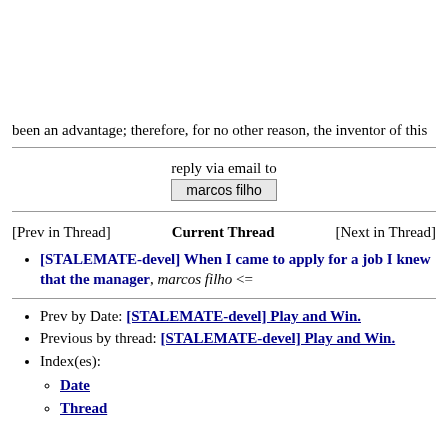been an advantage; therefore, for no other reason, the inventor of this
reply via email to
marcos filho
[Prev in Thread]    Current Thread    [Next in Thread]
[STALEMATE-devel] When I came to apply for a job I knew that the manager, marcos filho <=
Prev by Date: [STALEMATE-devel] Play and Win.
Previous by thread: [STALEMATE-devel] Play and Win.
Index(es):
Date
Thread